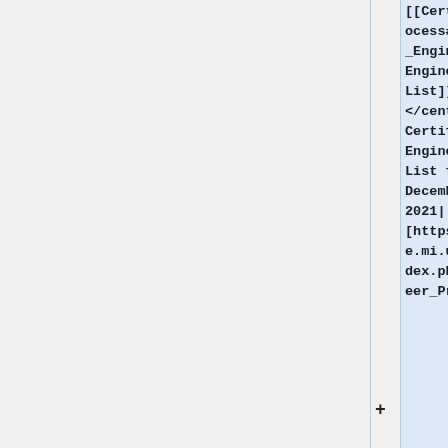[[Certified_Engineer_Process#Current_Certified_Engineers|Certified Engineer List]]
</center>||Updated Certified Engineer List for December 2021||
[https://mdotwiki.state.mi.us/construction/index.php/Certified_Engineer_Process#Curr